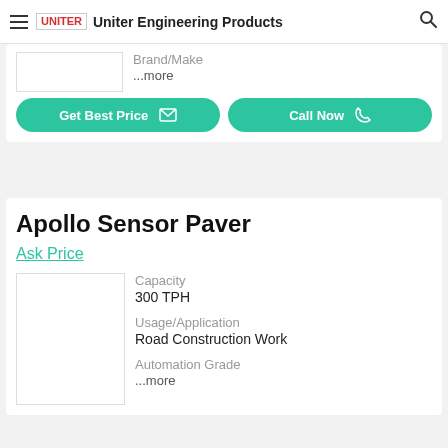Uniter Engineering Products
Brand/Make
...more
Get Best Price   Call Now
Apollo Sensor Paver
Ask Price
| Attribute | Value |
| --- | --- |
| Capacity | 300 TPH |
| Usage/Application | Road Construction Work |
| Automation Grade | ...more |